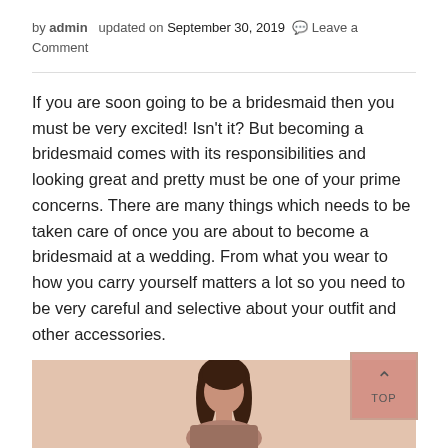by admin   updated on September 30, 2019   💬 Leave a Comment
If you are soon going to be a bridesmaid then you must be very excited! Isn't it? But becoming a bridesmaid comes with its responsibilities and looking great and pretty must be one of your prime concerns. There are many things which needs to be taken care of once you are about to become a bridesmaid at a wedding. From what you wear to how you carry yourself matters a lot so you need to be very careful and selective about your outfit and other accessories.
[Figure (photo): A woman with long dark hair shown from approximately shoulder level up, against a light peach/beige background.]